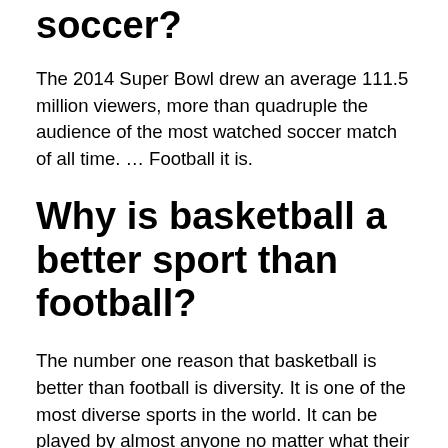soccer?
The 2014 Super Bowl drew an average 111.5 million viewers, more than quadruple the audience of the most watched soccer match of all time. … Football it is.
Why is basketball a better sport than football?
The number one reason that basketball is better than football is diversity. It is one of the most diverse sports in the world. It can be played by almost anyone no matter what their gender, age, race, ethnicity or socioeconomic group. It is a sport that does not require a lot of expensive equipment to play.